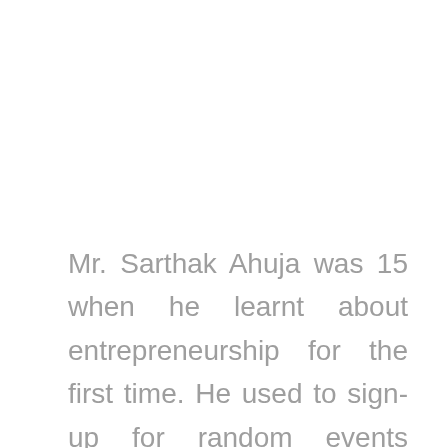Mr. Sarthak Ahuja was 15 when he learnt about entrepreneurship for the first time. He used to sign-up for random events happening across the city as he was keen to gain knowledge from wherever he could. One such event at IIT Delhi changed his life. That